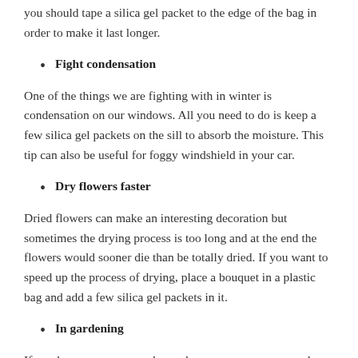you should tape a silica gel packet to the edge of the bag in order to make it last longer.
Fight condensation
One of the things we are fighting with in winter is condensation on our windows. All you need to do is keep a few silica gel packets on the sill to absorb the moisture. This tip can also be useful for foggy windshield in your car.
Dry flowers faster
Dried flowers can make an interesting decoration but sometimes the drying process is too long and at the end the flowers would sooner die than be totally dried. If you want to speed up the process of drying, place a bouquet in a plastic bag and add a few silica gel packets in it.
In gardening
If you have your own garden and you save your own seeds